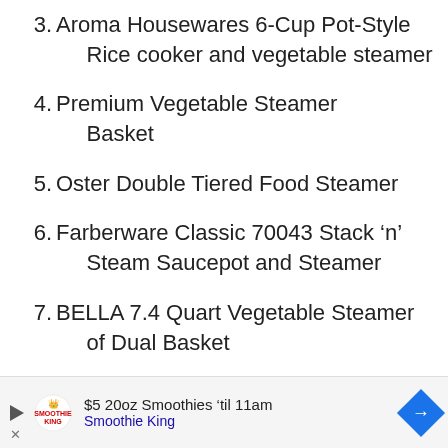3. Aroma Housewares 6-Cup Pot-Style Rice cooker and vegetable steamer
4. Premium Vegetable Steamer Basket
5. Oster Double Tiered Food Steamer
6. Farberware Classic 70043 Stack ‘n’ Steam Saucepot and Steamer
7. BELLA 7.4 Quart Vegetable Steamer of Dual Basket
8. Sunsella Stainless Steel Vegetable Steamer
$5 20oz Smoothies ‘til 11am Smoothie King